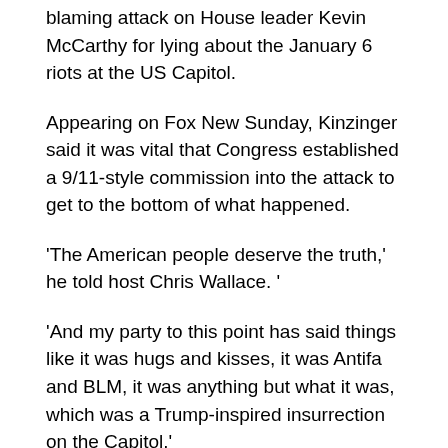blaming attack on House leader Kevin McCarthy for lying about the January 6 riots at the US Capitol.
Appearing on Fox New Sunday, Kinzinger said it was vital that Congress established a 9/11-style commission into the attack to get to the bottom of what happened.
'The American people deserve the truth,' he told host Chris Wallace. '
'And my party to this point has said things like it was hugs and kisses, it was Antifa and BLM, it was anything but what it was, which was a Trump-inspired insurrection on the Capitol.'
The House passed legislation last week to form a bipartisan commission of five Republicans and five Democrats to investigate the January 6 riots, in spite of opposition from Republican leadership.